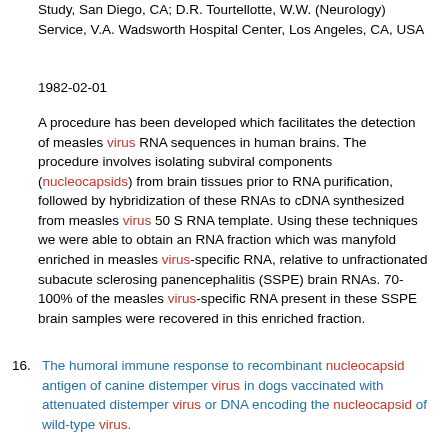Study, San Diego, CA; D.R. Tourtellotte, W.W. (Neurology) Service, V.A. Wadsworth Hospital Center, Los Angeles, CA, USA
1982-02-01
A procedure has been developed which facilitates the detection of measles virus RNA sequences in human brains. The procedure involves isolating subviral components (nucleocapsids) from brain tissues prior to RNA purification, followed by hybridization of these RNAs to cDNA synthesized from measles virus 50 S RNA template. Using these techniques we were able to obtain an RNA fraction which was manyfold enriched in measles virus-specific RNA, relative to unfractionated subacute sclerosing panencephalitis (SSPE) brain RNAs. 70-100% of the measles virus-specific RNA present in these SSPE brain samples were recovered in this enriched fraction.
16. The humoral immune response to recombinant nucleocapsid antigen of canine distemper virus in dogs vaccinated with attenuated distemper virus or DNA encoding the nucleocapsid of wild-type virus.